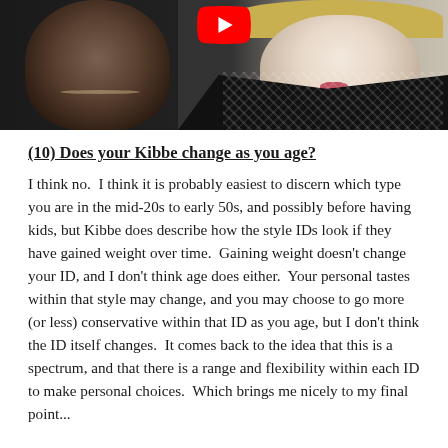[Figure (photo): A YouTube video thumbnail showing two people: a dark-haired man on the left and a blonde woman on the right, both against a dark background. A red YouTube play button is visible at the top center.]
(10) Does your Kibbe change as you age?
I think no.  I think it is probably easiest to discern which type you are in the mid-20s to early 50s, and possibly before having kids, but Kibbe does describe how the style IDs look if they have gained weight over time.  Gaining weight doesn't change your ID, and I don't think age does either.  Your personal tastes within that style may change, and you may choose to go more (or less) conservative within that ID as you age, but I don't think the ID itself changes.  It comes back to the idea that this is a spectrum, and that there is a range and flexibility within each ID to make personal choices.  Which brings me nicely to my final point...